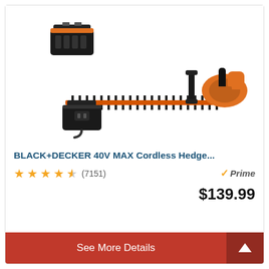[Figure (photo): BLACK+DECKER 40V MAX cordless hedge trimmer shown with battery pack (top left) and charger (bottom left), orange and black coloring, long serrated blade.]
BLACK+DECKER 40V MAX Cordless Hedge...
★★★★½ (7151) Prime $139.99
See More Details